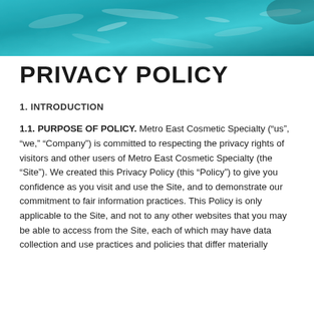[Figure (photo): Aerial or close-up view of teal/turquoise water surface with light reflections and ripples, used as a decorative hero banner image at the top of the page.]
PRIVACY POLICY
1. INTRODUCTION
1.1. PURPOSE OF POLICY. Metro East Cosmetic Specialty (“us”, “we,” “Company”) is committed to respecting the privacy rights of visitors and other users of Metro East Cosmetic Specialty (the “Site”). We created this Privacy Policy (this “Policy”) to give you confidence as you visit and use the Site, and to demonstrate our commitment to fair information practices. This Policy is only applicable to the Site, and not to any other websites that you may be able to access from the Site, each of which may have data collection and use practices and policies that differ materially from ours.